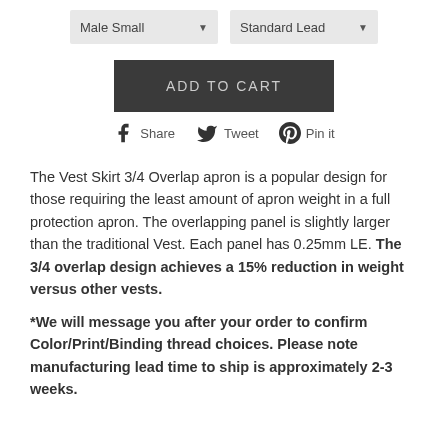[Figure (screenshot): Two dropdown selectors: 'Male Small' and 'Standard Lead']
[Figure (screenshot): ADD TO CART button, dark gray]
[Figure (screenshot): Social sharing buttons: Share (Facebook), Tweet (Twitter), Pin it (Pinterest)]
The Vest Skirt 3/4 Overlap apron is a popular design for those requiring the least amount of apron weight in a full protection apron. The overlapping panel is slightly larger than the traditional Vest. Each panel has 0.25mm LE. The 3/4 overlap design achieves a 15% reduction in weight versus other vests.
*We will message you after your order to confirm Color/Print/Binding thread choices. Please note manufacturing lead time to ship is approximately 2-3 weeks.